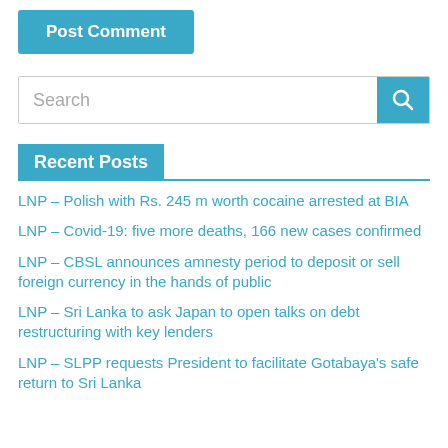Post Comment
Search
Recent Posts
LNP – Polish with Rs. 245 m worth cocaine arrested at BIA
LNP – Covid-19: five more deaths, 166 new cases confirmed
LNP – CBSL announces amnesty period to deposit or sell foreign currency in the hands of public
LNP – Sri Lanka to ask Japan to open talks on debt restructuring with key lenders
LNP – SLPP requests President to facilitate Gotabaya's safe return to Sri Lanka